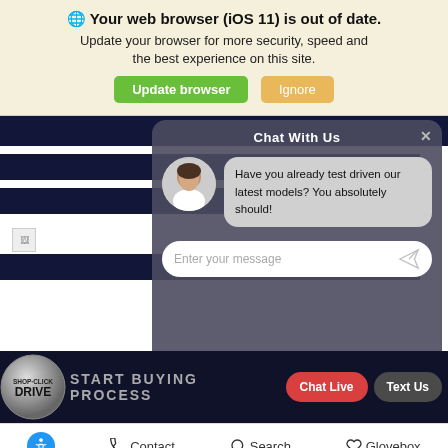🌐 Your web browser (iOS 11) is out of date. Update your browser for more security, speed and the best experience on this site.
[Figure (screenshot): Browser update banner with 'Update browser' (green) and 'Ignore' (yellow/tan) buttons]
[Figure (screenshot): Chat With Us overlay widget showing avatar of woman, message bubble saying 'Have you already test driven our latest models? You absolutely should!', and an input field 'Enter your message']
[Figure (screenshot): Shop-Click Drive banner at bottom with 'Chat Live' (red) and 'Text Us' (dark) buttons, and 'START BUYING PROCESS' text]
[Figure (screenshot): Bottom navigation bar with accessibility icon, Contact, Search, and Glovebox links]